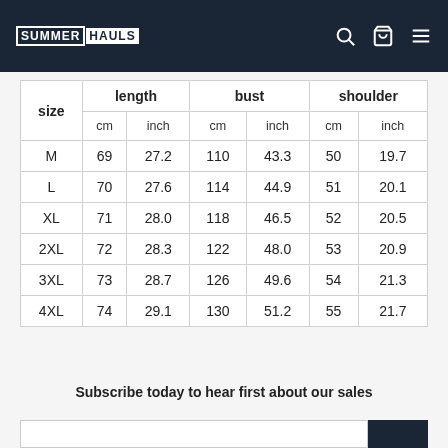SUMMERHAULS — navigation header with logo, search, cart, and menu icons
| size | length cm | length inch | bust cm | bust inch | shoulder cm | shoulder inch |
| --- | --- | --- | --- | --- | --- | --- |
| M | 69 | 27.2 | 110 | 43.3 | 50 | 19.7 |
| L | 70 | 27.6 | 114 | 44.9 | 51 | 20.1 |
| XL | 71 | 28.0 | 118 | 46.5 | 52 | 20.5 |
| 2XL | 72 | 28.3 | 122 | 48.0 | 53 | 20.9 |
| 3XL | 73 | 28.7 | 126 | 49.6 | 54 | 21.3 |
| 4XL | 74 | 29.1 | 130 | 51.2 | 55 | 21.7 |
Subscribe today to hear first about our sales